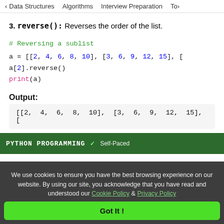< Data Structures   Algorithms   Interview Preparation   To>
3. reverse(): Reverses the order of the list.
# Reversing a sublist
a = [[2, 4, 6, 8, 10], [3, 6, 9, 12, 15], [
a[2].reverse()
print(a)
Output:
[[2, 4, 6, 8, 10], [3, 6, 9, 12, 15], [
[Figure (screenshot): PYTHON PROGRAMMING banner with Self-Paced label]
We use cookies to ensure you have the best browsing experience on our website. By using our site, you acknowledge that you have read and understood our Cookie Policy & Privacy Policy
Got It !